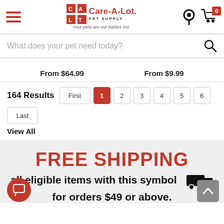[Figure (screenshot): Care-A-Lot Pet Supply website header with hamburger menu, logo, location pin, and cart icon with badge showing 0]
What does your pet need today?
From $64.99
From $9.99
164 Results  First  1  2  3  4  5  6  Last
View All
FREE SHIPPING
all eligible items with this symbol 🚚 for orders $49 or above.